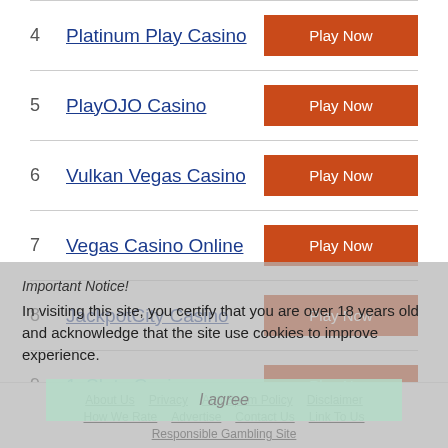4 Platinum Play Casino
5 PlayOJO Casino
6 Vulkan Vegas Casino
7 Vegas Casino Online
8 JackpotCity Casino
9 1xSlots Casino
Important Notice! In visiting this site, you certify that you are over 18 years old and acknowledge that the site use cookies to improve experience.
I agree
About Us  Privacy  Anti Spam Policy  Disclaimer  How We Rate  Advertise  Contact Us  Link To Us  Responsible Gambling Site